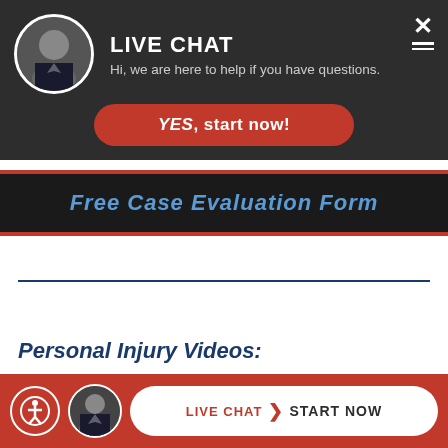[Figure (screenshot): Live chat overlay popup with attorney avatar, LIVE CHAT heading, subtitle text, YES start now button, and close X button]
LIVE CHAT
Hi, we are here to help if you have questions.
YES, start now!
Free Case Evaluation Form
Personal Injury Videos:
[Figure (screenshot): Bottom live chat bar with accessibility icon, attorney avatar, LIVE CHAT > START NOW button on red background]